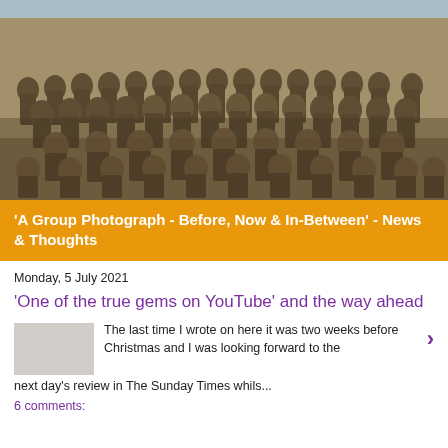[Figure (photo): Sepia-toned group photograph of soldiers in military uniform, posed in three rows outdoors]
'A Group Photograph - Before, Now & In-Between' - News & Thoughts
Monday, 5 July 2021
'One of the true gems on YouTube' and the way ahead
The last time I wrote on here it was two weeks before Christmas and I was looking forward to the next day's review in The Sunday Times whils...
6 comments: